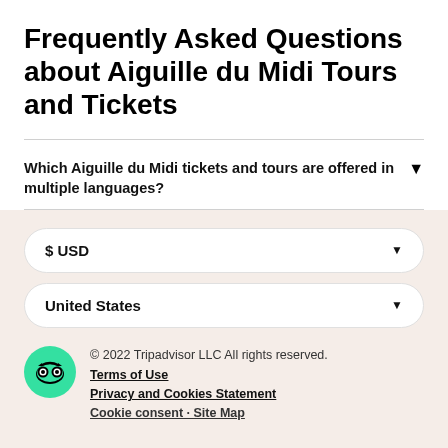Frequently Asked Questions about Aiguille du Midi Tours and Tickets
Which Aiguille du Midi tickets and tours are offered in multiple languages?
$ USD
United States
© 2022 Tripadvisor LLC All rights reserved. Terms of Use Privacy and Cookies Statement Cookie consent · Site Map